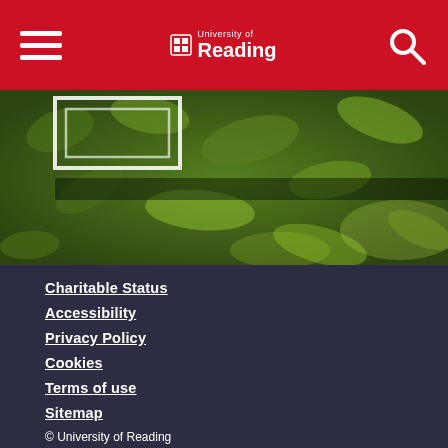University of Reading — navigation header with hamburger menu, logo, and search icon
[Figure (photo): Outdoor nature/garden photo showing green foliage and leaves, with a white rectangular frame overlay in the top-left corner]
Charitable Status
Accessibility
Privacy Policy
Cookies
Terms of use
Sitemap
© University of Reading